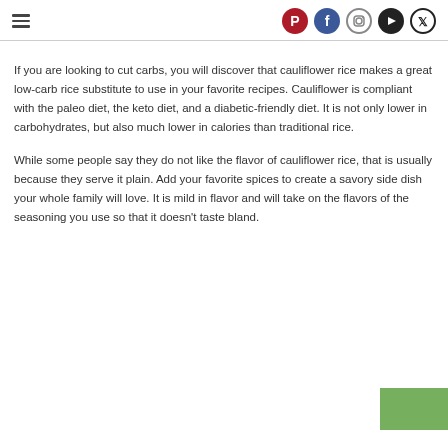Navigation bar with hamburger menu and social icons (Pinterest, Facebook, Instagram, YouTube, Twitter)
If you are looking to cut carbs, you will discover that cauliflower rice makes a great low-carb rice substitute to use in your favorite recipes. Cauliflower is compliant with the paleo diet, the keto diet, and a diabetic-friendly diet. It is not only lower in carbohydrates, but also much lower in calories than traditional rice.
While some people say they do not like the flavor of cauliflower rice, that is usually because they serve it plain. Add your favorite spices to create a savory side dish your whole family will love. It is mild in flavor and will take on the flavors of the seasoning you use so that it doesn't taste bland.